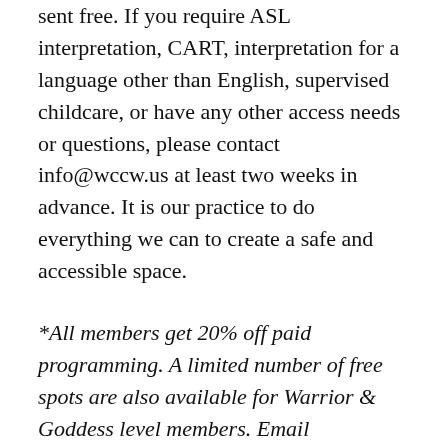sent free. If you require ASL interpretation, CART, interpretation for a language other than English, supervised childcare, or have any other access needs or questions, please contact info@wccw.us at least two weeks in advance. It is our practice to do everything we can to create a safe and accessible space.
*All members get 20% off paid programming. A limited number of free spots are also available for Warrior & Goddess level members. Email info@wccw.us to inquire about free tickets.
Our program costs go directly towards compensation of the instructors and staffers who work the event. We want to make programming as accessible as possible to anyone